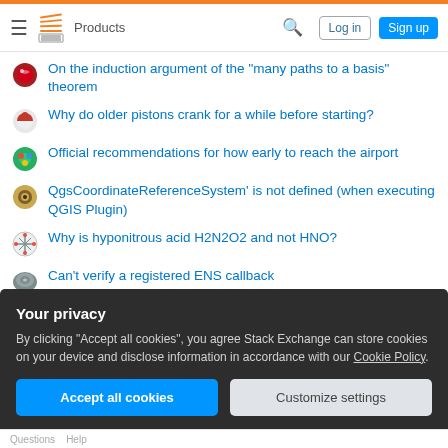≡ [Stack Exchange logo] Products  🔍  Log in  Sign up
On the induction argument of the "many paths to a basis" theorem
Why do older pistons crank for a while before starting?
Official recommendations for how early to reach the airport
QgsCoordinateReferenceSystem' is not defined (when executing QGIS Plugin)
Why is hyponitrous acid H2N2O2 and not HNO?
Can't verify a registered ENS callback
Aiming to get electricity for my cabin via underground burial. Few questions
Usage of passive in Summa Theologiae
Your privacy
By clicking "Accept all cookies", you agree Stack Exchange can store cookies on your device and disclose information in accordance with our Cookie Policy.
Accept all cookies   Customize settings
Questions  Help